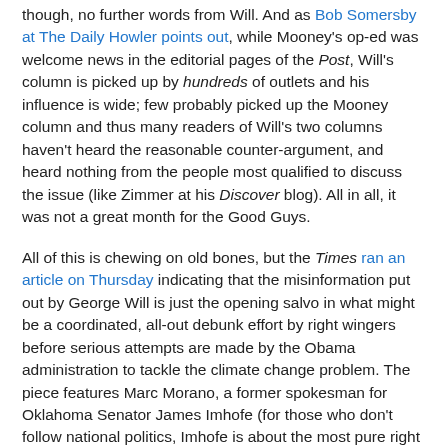though, no further words from Will. And as Bob Somersby at The Daily Howler points out, while Mooney's op-ed was welcome news in the editorial pages of the Post, Will's column is picked up by hundreds of outlets and his influence is wide; few probably picked up the Mooney column and thus many readers of Will's two columns haven't heard the reasonable counter-argument, and heard nothing from the people most qualified to discuss the issue (like Zimmer at his Discover blog). All in all, it was not a great month for the Good Guys.
All of this is chewing on old bones, but the Times ran an article on Thursday indicating that the misinformation put out by George Will is just the opening salvo in what might be a coordinated, all-out debunk effort by right wingers before serious attempts are made by the Obama administration to tackle the climate change problem. The piece features Marc Morano, a former spokesman for Oklahoma Senator James Imhofe (for those who don't follow national politics, Imhofe is about the most pure right wing senator there is), and how he is revving up a media campaign to attack any political solutions to the climate change problem. I don't have